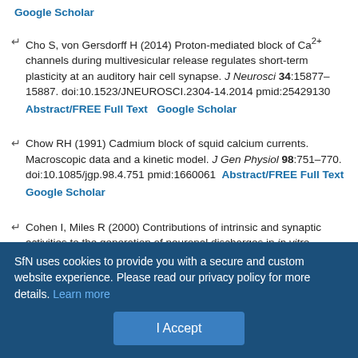Google Scholar
Cho S, von Gersdorff H (2014) Proton-mediated block of Ca2+ channels during multivesicular release regulates short-term plasticity at an auditory hair cell synapse. J Neurosci 34:15877–15887. doi:10.1523/JNEUROSCI.2304-14.2014 pmid:25429130 Abstract/FREE Full Text Google Scholar
Chow RH (1991) Cadmium block of squid calcium currents. Macroscopic data and a kinetic model. J Gen Physiol 98:751–770. doi:10.1085/jgp.98.4.751 pmid:1660061 Abstract/FREE Full Text Google Scholar
Cohen I, Miles R (2000) Contributions of intrinsic and synaptic activities to the generation of neuronal discharges in in vitro hippocampus. J Physiol 524:485–502. doi:10.1111/j.1469-7793.2000.00485.x pmid:10766928 CrossRef PubMed Google Scholar
SfN uses cookies to provide you with a secure and custom website experience. Please read our privacy policy for more details. Learn more